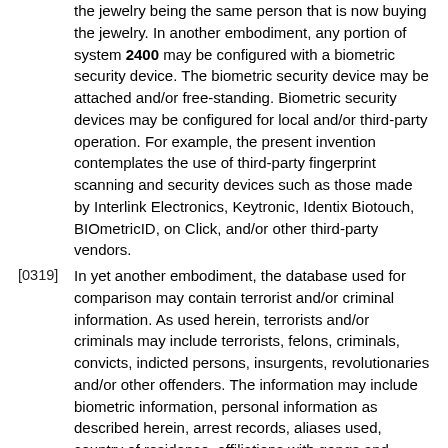the jewelry being the same person that is now buying the jewelry. In another embodiment, any portion of system 2400 may be configured with a biometric security device. The biometric security device may be attached and/or free-standing. Biometric security devices may be configured for local and/or third-party operation. For example, the present invention contemplates the use of third-party fingerprint scanning and security devices such as those made by Interlink Electronics, Keytronic, Identix Biotouch, BIOmetricID, on Click, and/or other third-party vendors.
[0319] In yet another embodiment, the database used for comparison may contain terrorist and/or criminal information. As used herein, terrorists and/or criminals may include terrorists, felons, criminals, convicts, indicted persons, insurgents, revolutionaries and/or other offenders. The information may include biometric information, personal information as described herein, arrest records, aliases used, country of residence, affiliations with gangs and terrorist groups, and/or any other terrorist and/or criminal information.